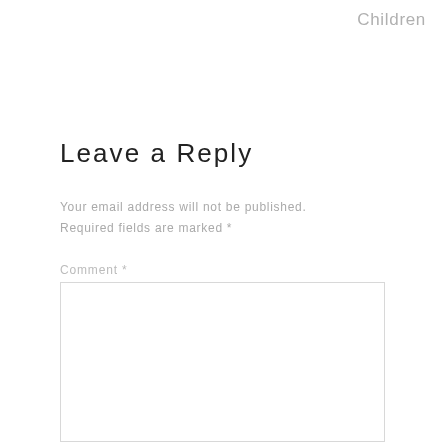Children
Leave a Reply
Your email address will not be published. Required fields are marked *
Comment *
[Figure (other): Empty comment text area input box]